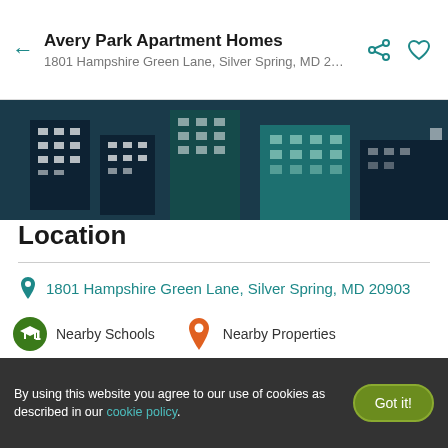Avery Park Apartment Homes
1801 Hampshire Green Lane, Silver Spring, MD 2...
[Figure (illustration): Illustrated skyline banner with teal and dark blue city buildings]
Location
1801 Hampshire Green Lane, Silver Spring, MD 20903
Nearby Schools
Nearby Properties
[Figure (map): Interactive map showing Silver Spring MD area with Rockville, North Bethesda, Laurel labels. Includes zoom controls, Contact button overlay, and fullscreen button.]
By using this website you agree to our use of cookies as described in our cookie policy.